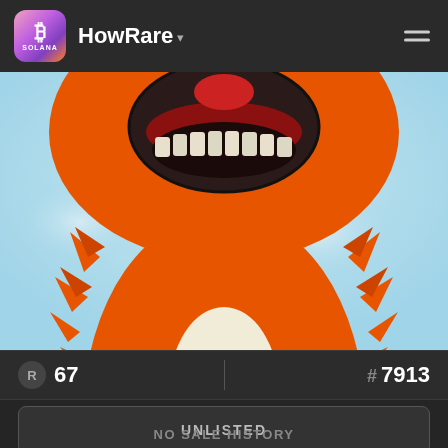HowRare
[Figure (illustration): Cartoon NFT character — an orange furry creature with a big grinning open mouth showing teeth, light blue sky background, white oval belly patch. Cropped close-up showing head, chest and torso.]
R 67
# 7913
UNLISTED
NO SALE HISTORY